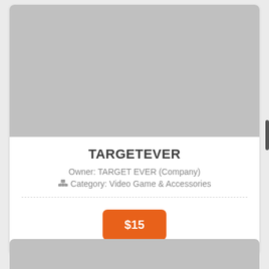[Figure (photo): Gray placeholder image at top of product card]
TARGETEVER
Owner: TARGET EVER (Company)
Category: Video Game & Accessories
$15